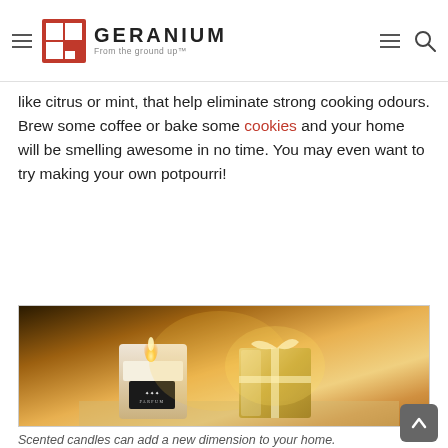GERANIUM — From the ground up
like citrus or mint, that help eliminate strong cooking odours. Brew some coffee or bake some cookies and your home will be smelling awesome in no time. You may even want to try making your own potpourri!
[Figure (photo): A lit scented candle in a clear glass container with a PARFUM label, next to a metallic silver gift box with ribbon, both on a shelf with warm glowing background.]
Scented candles can add a new dimension to your home.